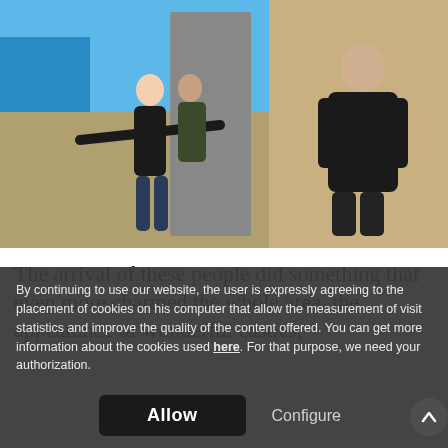[Figure (photo): Outdoor photo showing people posing at a stone monument/landmark. Left side shows a woman with arms spread wide, another person behind her touching the monument, with blue ocean and sky in the background. Right side shows a person in a black puffer jacket leaning against a stone wall.]
The arrival of these people did something that even more charmed the whole area, the appearance of wonderful castles, palaces on our streets, so beautiful and everything well formed that it is charming around.
By continuing to use our website, the user is expressly agreeing to the placement of cookies on his computer that allow the measurement of visit statistics and improve the quality of the content offered. You can get more information about the cookies used here. For that purpose, we need your authorization.